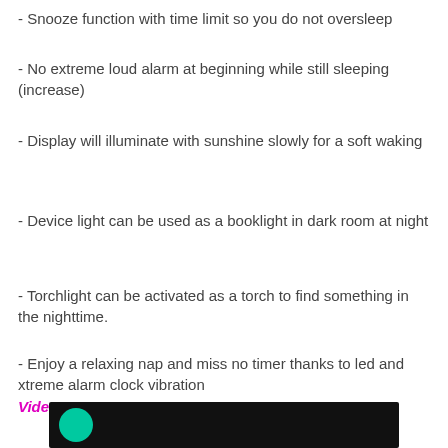- Snooze function with time limit so you do not oversleep
- No extreme loud alarm at beginning while still sleeping (increase)
- Display will illuminate with sunshine slowly for a soft waking
- Device light can be used as a booklight in dark room at night
- Torchlight can be activated as a torch to find something in the nighttime.
- Enjoy a relaxing nap and miss no timer thanks to led and xtreme alarm clock vibration
Video:
[Figure (screenshot): Black video thumbnail with teal/green circular play button icon partially visible at bottom left]